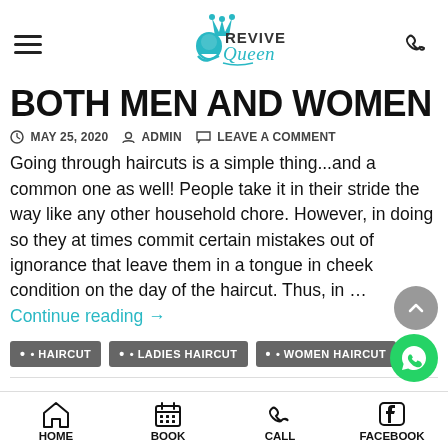[Figure (logo): Revive Queen logo with teal crown and female silhouette, teal and black text]
BOTH MEN AND WOMEN
MAY 25, 2020  ADMIN  LEAVE A COMMENT
Going through haircuts is a simple thing...and a common one as well! People take it in their stride the way like any other household chore. However, in doing so they at times commit certain mistakes out of ignorance that leave them in a tongue in cheek condition on the day of the haircut. Thus, in ... Continue reading →
HAIRCUT
LADIES HAIRCUT
WOMEN HAIRCUT
HOME  BOOK  CALL  FACEBOOK